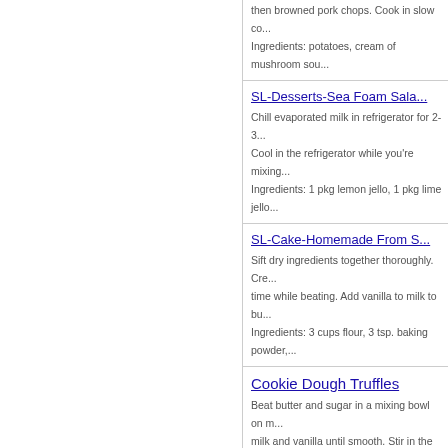then browned pork chops. Cook in slow co... Ingredients: potatoes, cream of mushroom sou...
SL-Desserts-Sea Foam Sala... Chill evaporated milk in refrigerator for 2-3... Cool in the refrigerator while you're mixing... Ingredients: 1 pkg lemon jello, 1 pkg lime jello...
SL-Cake-Homemade From S... Sift dry ingredients together thoroughly. Cre... time while beating. Add vanilla to milk to bu... Ingredients: 3 cups flour, 3 tsp. baking powder,...
Cookie Dough Truffles Beat butter and sugar in a mixing bowl on m... milk and vanilla until smooth. Stir in the cho... Ingredients: 8 tbsp. unsalted butter, at room tem... sweetened condensed milk...
Rolo Cookies Des... ... Ingredients: 2 1/2 cups flour, 3/4 cup unsweete...
Jerk Barbecue Pork Steaks Trim fat from steaks. Sprinkle with salt and... sides. Transfer to crockpot. Drain fat from s... Ingredients: 3 thick pork shoulder blade steaks...
Cheesy Potatoes Bake 2 hours at 325 13 servings per recipe... each cr of celery, mushroom, chicken) 1.3 th... Ingredients: ...